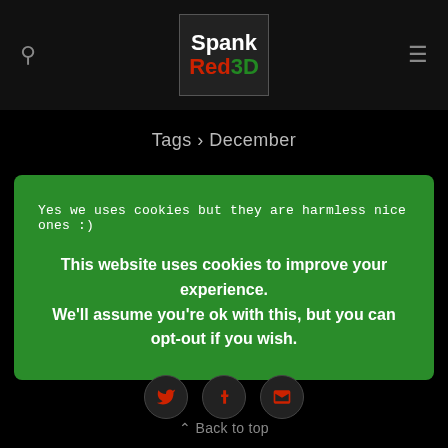SpankRed3D — header with search and menu icons
Tags › December
Yes we uses cookies but they are harmless nice ones :)

This website uses cookies to improve your experience. We'll assume you're ok with this, but you can opt-out if you wish.
[Figure (infographic): Three circular social media icon buttons: Twitter bird, Tumblr T, and envelope/email icon, dark circles with red icons]
⌃ Back to top